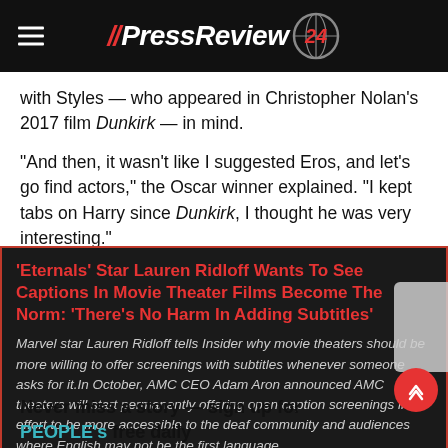//PressReview 24
with Styles — who appeared in Christopher Nolan's 2017 film Dunkirk — in mind.
"And then, it wasn't like I suggested Eros, and let's go find actors," the Oscar winner explained. "I kept tabs on Harry since Dunkirk, I thought he was very interesting."
'Eternals' Star Lauren Ridloff Wants To See Captions In Movie Theater Films Become The Norm: 'There's No Harm In Adding Subtitles'
Marvel star Lauren Ridloff tells Insider why movie theaters should be more willing to offer screenings with subtitles whenever someone asks for it.In October, AMC CEO Adam Aron announced AMC theaters will start permanently offering open caption screenings in an effort to be more accessible to the deaf community and audiences where English may not be the first language.
Never miss a story — sign up for PEOPLE's free daily